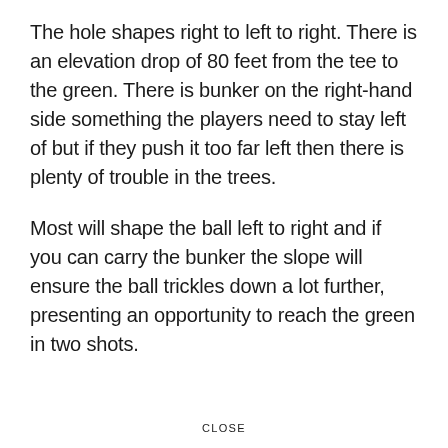The hole shapes right to left to right. There is an elevation drop of 80 feet from the tee to the green. There is bunker on the right-hand side something the players need to stay left of but if they push it too far left then there is plenty of trouble in the trees.
Most will shape the ball left to right and if you can carry the bunker the slope will ensure the ball trickles down a lot further, presenting an opportunity to reach the green in two shots.
CLOSE